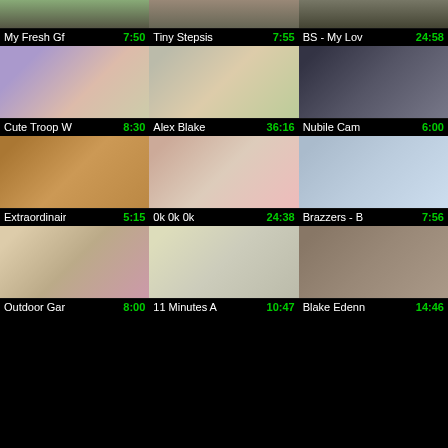[Figure (screenshot): Video thumbnail grid - row 1 partial thumbnails]
My Fresh Gf 7:50 | Tiny Stepsis 7:55 | BS - My Lov 24:58
[Figure (screenshot): Video thumbnail grid - row 2: Cute Troop W, Alex Blake, Nubile Cam]
Cute Troop W 8:30 | Alex Blake 36:16 | Nubile Cam 6:00
[Figure (screenshot): Video thumbnail grid - row 3: Extraordinair, 0k 0k 0k, Brazzers - B]
Extraordinair 5:15 | 0k 0k 0k 24:38 | Brazzers - B 7:56
[Figure (screenshot): Video thumbnail grid - row 4: Outdoor Gar, 11 Minutes A, Blake Edenn]
Outdoor Gar 8:00 | 11 Minutes A 10:47 | Blake Edenn 14:46